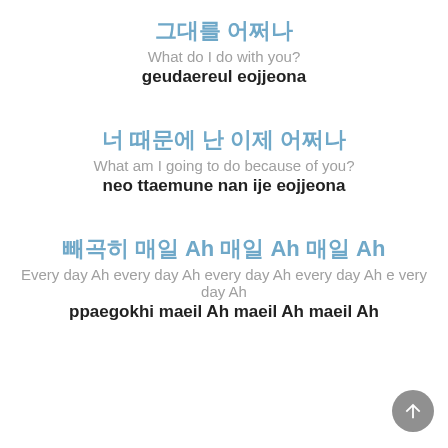그대를 어쩌나
What do I do with you?
geudaereul eojjeona
너 때문에 난 이제 어쩌나
What am I going to do because of you?
neo ttaemune nan ije eojjeona
빼곡히 매일 Ah 매일 Ah 매일 Ah
Every day Ah every day Ah every day Ah every day Ah every day Ah
ppaegokhi maeil Ah maeil Ah maeil Ah